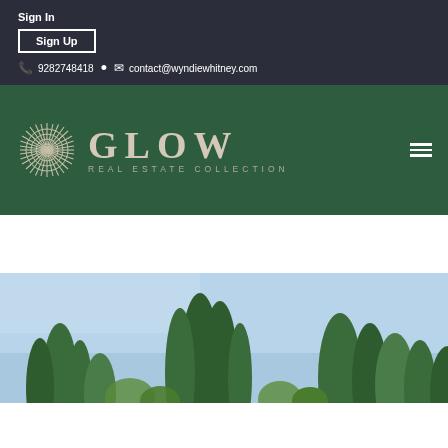Sign In
Sign Up
9282748418 • contact@wyndiewhitney.com
[Figure (logo): GLOW Real Estate Collection logo — circular sun/radial design with concentric rings and rays, with 'GLOW' in large serif letters and 'REAL ESTATE COLLECTION' in small caps below, on a dark green background]
[Figure (photo): Outdoor photo showing tall trees (pine/desert vegetation) against a blue sky, cropped at bottom edge]